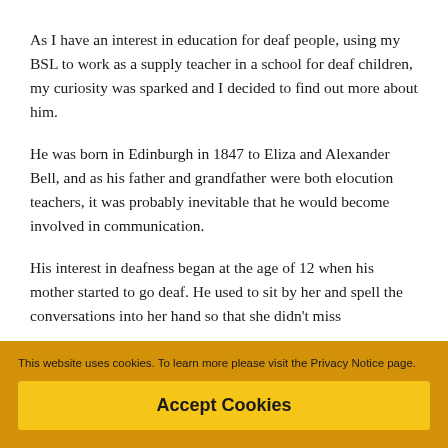As I have an interest in education for deaf people, using my BSL to work as a supply teacher in a school for deaf children, my curiosity was sparked and I decided to find out more about him.
He was born in Edinburgh in 1847 to Eliza and Alexander Bell, and as his father and grandfather were both elocution teachers, it was probably inevitable that he would become involved in communication.
His interest in deafness began at the age of 12 when his mother started to go deaf. He used to sit by her and spell the conversations into her hand so that she didn't miss
This website uses cookies. To learn more please visit the Privacy Notice page.
Accept Cookies